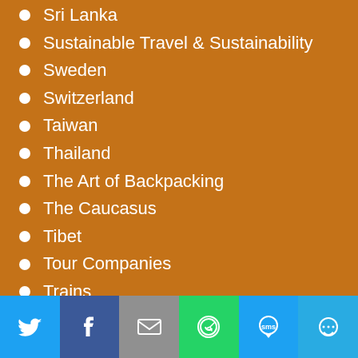Sri Lanka
Sustainable Travel & Sustainability
Sweden
Switzerland
Taiwan
Thailand
The Art of Backpacking
The Caucasus
Tibet
Tour Companies
Trains
Transnistria
Transportation
Travel Health Insurance
Travel Tools & Resources
Travel with Pets
[Figure (infographic): Social sharing bar with Twitter, Facebook, Email, WhatsApp, SMS, and More buttons]